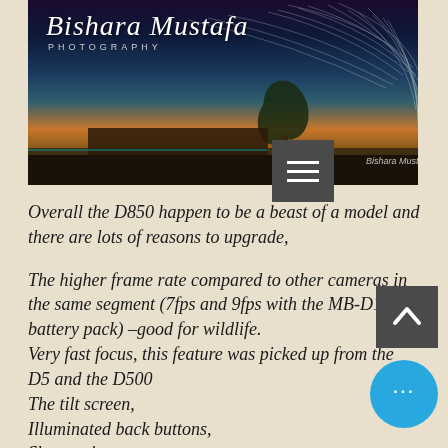[Figure (photo): Night sky photography hero image with star trails, a lone tree and building silhouette, with 'Bishara Mustafa Photography' logo overlay]
Overall the D850 happen to be a beast of a model and there are lots of reasons to upgrade,
The higher frame rate compared to other cameras in the same segment (7fps and 9fps with the MB-D18 battery pack) –good for wildlife.
Very fast focus, this feature was picked up from the D5 and the D500
The tilt screen,
Illuminated back buttons,
Sharper images,
Lower noise at higher ISO's